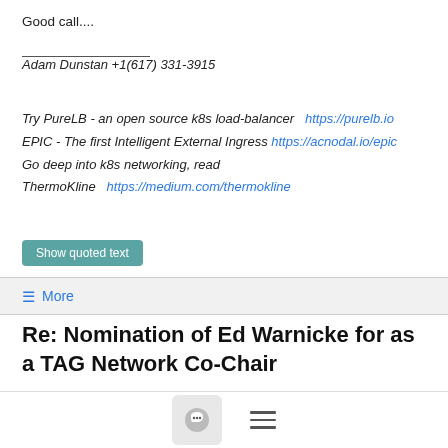Good call....
Adam Dunstan +1(617) 331-3915
Try PureLB - an open source k8s load-balancer  https://purelb.io
EPIC - The first Intelligent External Ingress https://acnodal.io/epic
Go deep into k8s networking, read
ThermoKline  https://medium.com/thermokline
Show quoted text
≡ More
Re: Nomination of Ed Warnicke for as a TAG Network Co-Chair